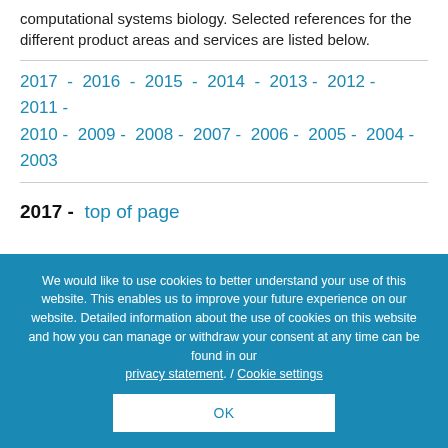computational systems biology. Selected references for the different product areas and services are listed below.
2017 - 2016 - 2015 - 2014 - 2013 - 2012 - 2011 - 2010 - 2009 - 2008 - 2007 - 2006 - 2005 - 2004 - 2003
2017 -  top of page
We would like to use cookies to better understand your use of this website. This enables us to improve your future experience on our website. Detailed information about the use of cookies on this website and how you can manage or withdraw your consent at any time can be found in our privacy statement. / Cookie settings